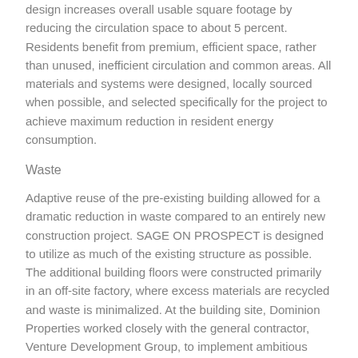design increases overall usable square footage by reducing the circulation space to about 5 percent. Residents benefit from premium, efficient space, rather than unused, inefficient circulation and common areas. All materials and systems were designed, locally sourced when possible, and selected specifically for the project to achieve maximum reduction in resident energy consumption.
Waste
Adaptive reuse of the pre-existing building allowed for a dramatic reduction in waste compared to an entirely new construction project. SAGE ON PROSPECT is designed to utilize as much of the existing structure as possible. The additional building floors were constructed primarily in an off-site factory, where excess materials are recycled and waste is minimalized. At the building site, Dominion Properties worked closely with the general contractor,   Venture Development Group, to implement ambitious waste reduction strategies and recycling protocols so that more than 85 percent of all construction waste was recycled. The building